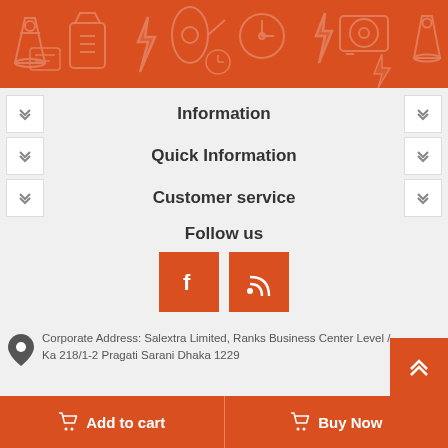[Figure (illustration): Orange banner with kitchen appliance icons (blender, toaster, hair dryer, clock, etc.) in a lighter orange pattern]
Information
Quick Information
Customer service
Follow us
[Figure (other): Social media icons: Facebook (f) and RSS feed buttons in orange squares]
Corporate Address: Salextra Limited, Ranks Business Center Level / Ka 218/1-2 Pragati Sarani Dhaka 1229
Add to cart
Buy Now